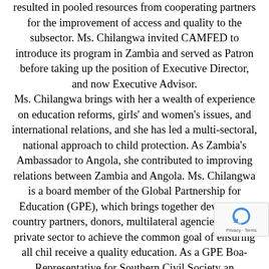resulted in pooled resources from cooperating partners for the improvement of access and quality to the subsector. Ms. Chilangwa invited CAMFED to introduce its program in Zambia and served as Patron before taking up the position of Executive Director, and now Executive Advisor. Ms. Chilangwa brings with her a wealth of experience on education reforms, girls' and women's issues, and international relations, and she has led a multi-sectoral, national approach to child protection. As Zambia's Ambassador to Angola, she contributed to improving relations between Zambia and Angola. Ms. Chilangwa is a board member of the Global Partnership for Education (GPE), which brings together developing country partners, donors, multilateral agencies, and the private sector to achieve the common goal of ensuring all children receive a quality education. As a GPE Board Representative for Southern Civil Society and CAMFED Executive Director, Ms.